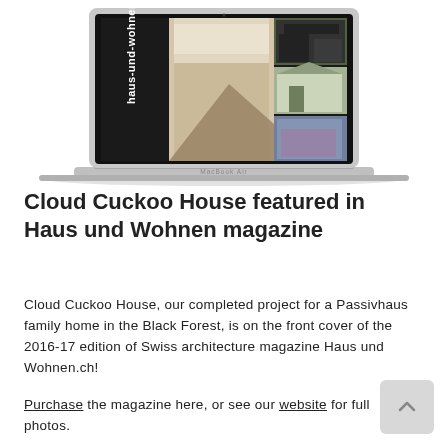[Figure (screenshot): Laptop (MacBook Air) displaying the haus-und-wohnen.ch magazine cover featuring Cloud Cuckoo House — a Passivhaus family home with interior and exterior architectural photos on a dark background.]
Cloud Cuckoo House featured in Haus und Wohnen magazine
Cloud Cuckoo House, our completed project for a Passivhaus family home in the Black Forest, is on the front cover of the 2016-17 edition of Swiss architecture magazine Haus und Wohnen.ch!
Purchase the magazine here, or see our website for full photos.